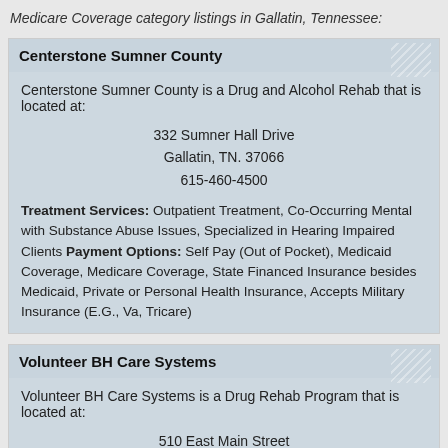Medicare Coverage category listings in Gallatin, Tennessee:
Centerstone Sumner County
Centerstone Sumner County is a Drug and Alcohol Rehab that is located at:
332 Sumner Hall Drive
Gallatin, TN. 37066
615-460-4500
Treatment Services: Outpatient Treatment, Co-Occurring Mental with Substance Abuse Issues, Specialized in Hearing Impaired Clients
Payment Options: Self Pay (Out of Pocket), Medicaid Coverage, Medicare Coverage, State Financed Insurance besides Medicaid, Private or Personal Health Insurance, Accepts Military Insurance (E.G., Va, Tricare)
Volunteer BH Care Systems
Volunteer BH Care Systems is a Drug Rehab Program that is located at:
510 East Main Street
Gallatin, TN. 37066
615-452-1354
Treatment Services: Outpatient Treatment, Criminal Justice Client